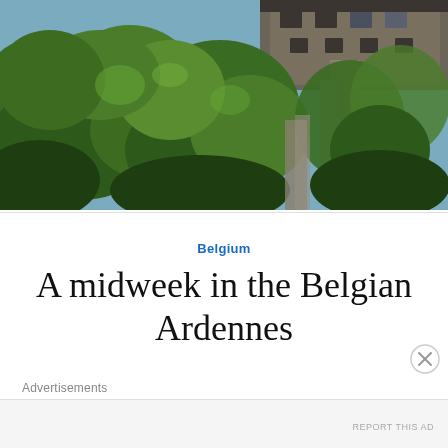[Figure (photo): Photograph of a stone building partially obscured by dense green trees and ivy-covered cliffs in the Belgian Ardennes]
Belgium
A midweek in the Belgian Ardennes
Advertisements